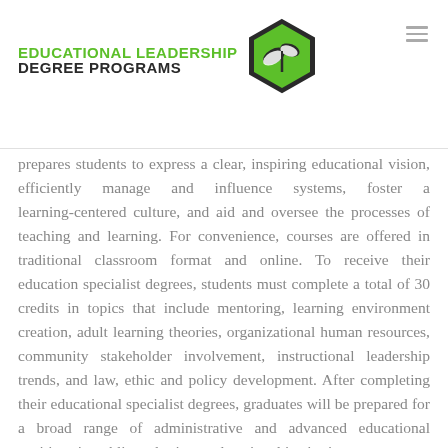EDUCATIONAL LEADERSHIP DEGREE PROGRAMS
prepares students to express a clear, inspiring educational vision, efficiently manage and influence systems, foster a learning-centered culture, and aid and oversee the processes of teaching and learning. For convenience, courses are offered in traditional classroom format and online. To receive their education specialist degrees, students must complete a total of 30 credits in topics that include mentoring, learning environment creation, adult learning theories, organizational human resources, community stakeholder involvement, instructional leadership trends, and law, ethic and policy development. After completing their educational specialist degrees, graduates will be prepared for a broad range of administrative and advanced educational positions in public and private educational institutions.